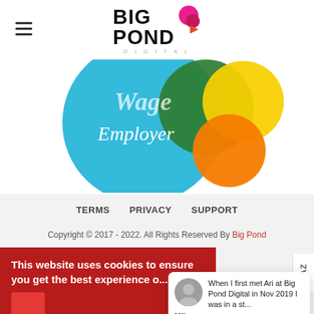[Figure (logo): Big Pond Digital logo with hamburger menu icon on the left]
[Figure (illustration): Colorful circular badge with text 'Employer' and overlapping colored circles (blue, green, yellow, orange)]
TERMS   PRIVACY   SUPPORT
Copyright © 2017 - 2022. All Rights Reserved By Big Pond
This website uses cookies to ensure you get the best experience o...
When I first met Ari at Big Pond Digital in Nov 2019 I was in a st...
Mike
★★★★★ 2y